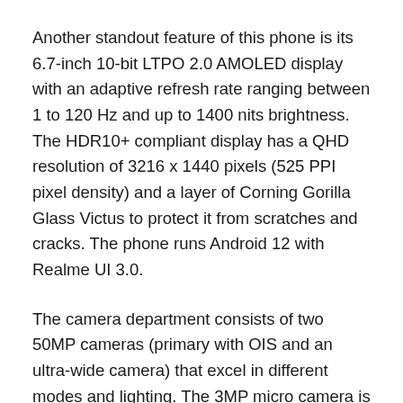Another standout feature of this phone is its 6.7-inch 10-bit LTPO 2.0 AMOLED display with an adaptive refresh rate ranging between 1 to 120 Hz and up to 1400 nits brightness. The HDR10+ compliant display has a QHD resolution of 3216 x 1440 pixels (525 PPI pixel density) and a layer of Corning Gorilla Glass Victus to protect it from scratches and cracks. The phone runs Android 12 with Realme UI 3.0.
The camera department consists of two 50MP cameras (primary with OIS and an ultra-wide camera) that excel in different modes and lighting. The 3MP micro camera is a very interesting addition that provides 20X to 40X magnification. The 32MP front camera handles selfies and video calls quite well. The Realme GT 2 Pro has a 5000 mAh battery that keeps the phone running for a day and a half of moderate use, and the bundled 65W SuperDart charger takes